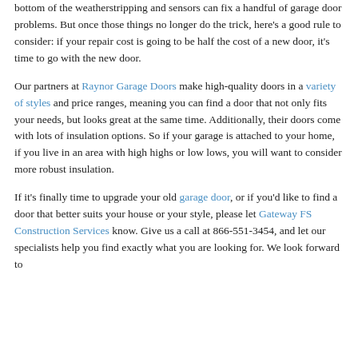bottom of the weatherstripping and sensors can fix a handful of garage door problems. But once those things no longer do the trick, here's a good rule to consider: if your repair cost is going to be half the cost of a new door, it's time to go with the new door.
Our partners at Raynor Garage Doors make high-quality doors in a variety of styles and price ranges, meaning you can find a door that not only fits your needs, but looks great at the same time. Additionally, their doors come with lots of insulation options. So if your garage is attached to your home, if you live in an area with high highs or low lows, you will want to consider more robust insulation.
If it's finally time to upgrade your old garage door, or if you'd like to find a door that better suits your house or your style, please let Gateway FS Construction Services know. Give us a call at 866-551-3454, and let our specialists help you find exactly what you are looking for. We look forward to